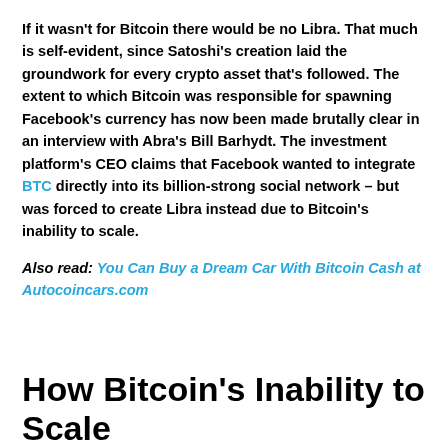If it wasn't for Bitcoin there would be no Libra. That much is self-evident, since Satoshi's creation laid the groundwork for every crypto asset that's followed. The extent to which Bitcoin was responsible for spawning Facebook's currency has now been made brutally clear in an interview with Abra's Bill Barhydt. The investment platform's CEO claims that Facebook wanted to integrate BTC directly into its billion-strong social network – but was forced to create Libra instead due to Bitcoin's inability to scale.
Also read: You Can Buy a Dream Car With Bitcoin Cash at Autocoincars.com
How Bitcoin's Inability to Scale